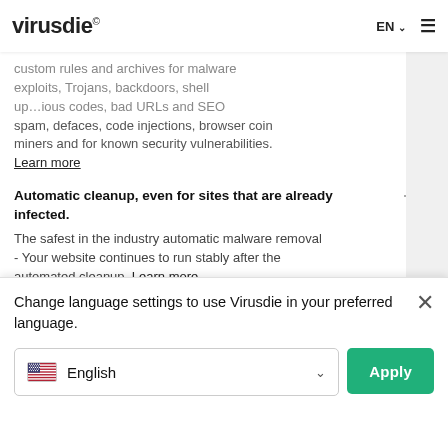virusdie® EN ≡
custom rules and archives for malware exploits, Trojans, backdoors, shell up…ious codes, bad URLs and SEO spam, defaces, code injections, browser coin miners and for known security vulnerabilities. Learn more
Automatic cleanup, even for sites that are already infected.
The safest in the industry automatic malware removal - Your website continues to run stably after the automated cleanup. Learn more
Automatic elimination of CMS and plugin vulnerabilities.
Automatic virtual vulnerability patching (website hardening) for files, themes, plugins and website components. Learn more
Malicious code highlighting plus all investigation
Change language settings to use Virusdie in your preferred language.
English